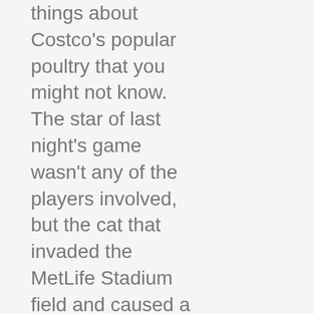things about Costco's popular poultry that you might not know. The star of last night's game wasn't any of the players involved, but the cat that invaded the MetLife Stadium field and caused a brief delay in the second quarter. It would never heal because I was playing all the time. Florida's 83 loss at Vanderbilt on